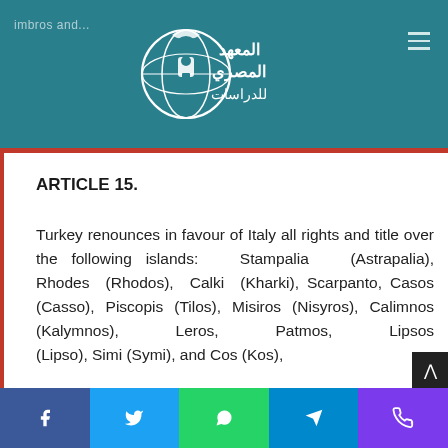imbros and...
[Figure (logo): Egyptian Institute for Studies logo with globe and Arabic text]
ARTICLE 15.
Turkey renounces in favour of Italy all rights and title over the following islands: Stampalia (Astrapalia), Rhodes (Rhodos), Calki (Kharki), Scarpanto, Casos (Casso), Piscopis (Tilos), Misiros (Nisyros), Calimnos (Kalymnos), Leros, Patmos, Lipsos (Lipso), Simi (Symi), and Cos (Kos),
Facebook Twitter WhatsApp Telegram Other